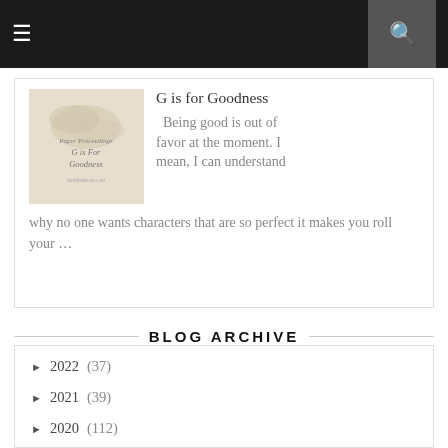≡  [nav bar with search]
[Figure (photo): Thumbnail image for blog post 'G is for Goodness' showing a beige/cream background with handwritten-style text reading 'Paper Proceedings G is For Goodness thenibsmom.com']
G is for Goodness
Being good is out of favor at the moment. I mean, I can understand why no one wants characters that are so perfect it makes you roll your …
BLOG ARCHIVE
► 2022 (37)
► 2021 (39)
► 2020 (112)